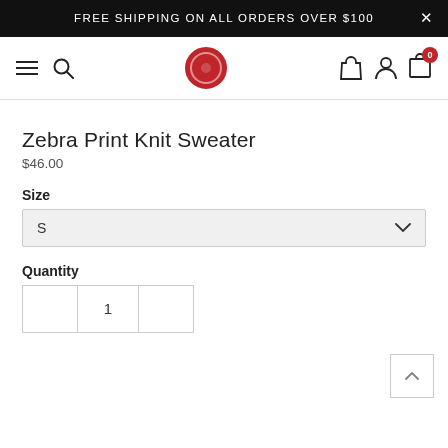FREE SHIPPING ON ALL ORDERS OVER $100
[Figure (screenshot): E-commerce navigation bar with hamburger menu, search icon, red circular logo, user account icon, and cart icon with badge showing 0]
Zebra Print Knit Sweater
$46.00
Size
S
Quantity
1